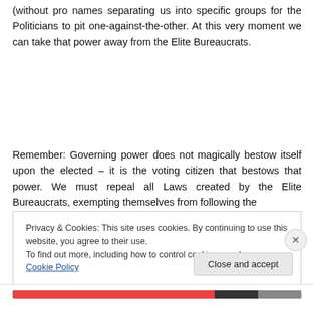(without pro names separating us into specific groups for the Politicians to pit one-against-the-other. At this very moment we can take that power away from the Elite Bureaucrats.
Remember: Governing power does not magically bestow itself upon the elected – it is the voting citizen that bestows that power. We must repeal all Laws created by the Elite Bureaucrats, exempting themselves from following the
Privacy & Cookies: This site uses cookies. By continuing to use this website, you agree to their use.
To find out more, including how to control cookies, see here: Cookie Policy
Close and accept